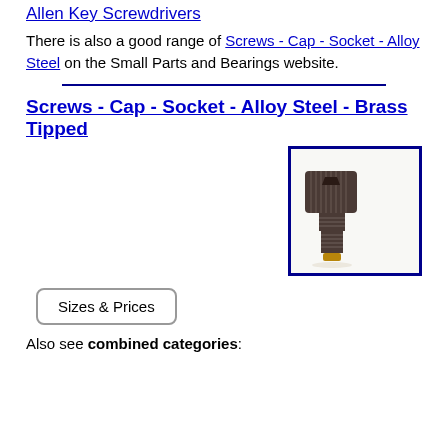Allen Key Screwdrivers
There is also a good range of Screws - Cap - Socket - Alloy Steel on the Small Parts and Bearings website.
Screws - Cap - Socket - Alloy Steel - Brass Tipped
[Figure (photo): Photo of a brass-tipped alloy steel socket cap screw with dark cylindrical head and threaded shaft, shown with a blue border frame.]
Sizes & Prices
Also see combined categories: